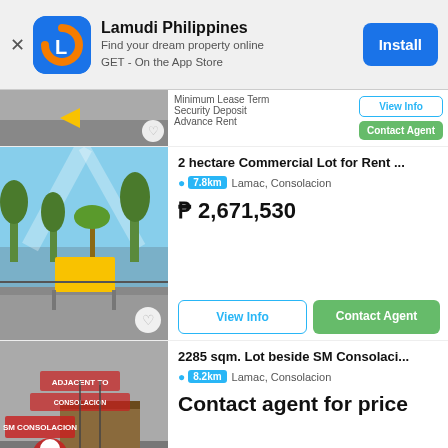[Figure (screenshot): Lamudi Philippines app banner with icon, install button]
Minimum Lease Term  Security Deposit  Advance Rent
View Info  Contact Agent
2 hectare Commercial Lot for Rent ...
7.8km  Lamac, Consolacion
₱ 2,671,530
View Info  Contact Agent
2285 sqm. Lot beside SM Consolaci...
8.2km  Lamac, Consolacion
Contact agent for price
View Info  Contact Agent
Commercial Lot For Rent at Consol...